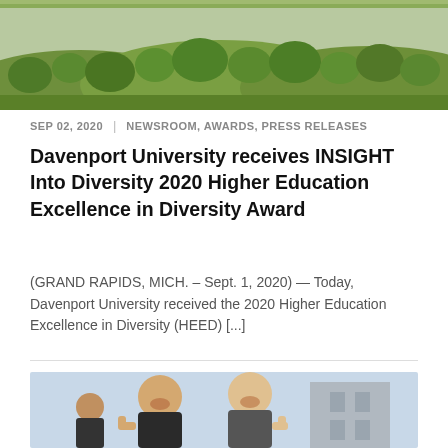[Figure (photo): Aerial or landscape photo showing green rolling hills and trees]
SEP 02, 2020  |  NEWSROOM, AWARDS, PRESS RELEASES
Davenport University receives INSIGHT Into Diversity 2020 Higher Education Excellence in Diversity Award
(GRAND RAPIDS, MICH. – Sept. 1, 2020) — Today, Davenport University received the 2020 Higher Education Excellence in Diversity (HEED) [...]
[Figure (photo): Two smiling young women giving thumbs up outdoors near a building]